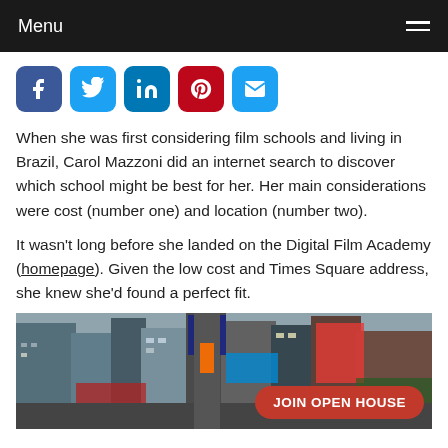Menu
[Figure (infographic): Social sharing icons row: Facebook, Twitter, LinkedIn, Pinterest, Email]
When she was first considering film schools and living in Brazil, Carol Mazzoni did an internet search to discover which school might be best for her. Her main considerations were cost (number one) and location (number two).
It wasn't long before she landed on the Digital Film Academy (homepage). Given the low cost and Times Square address, she knew she'd found a perfect fit.
[Figure (photo): Times Square street scene with tall buildings and billboards. A red pill-shaped button overlaid with text 'JOIN OPEN HOUSE'.]